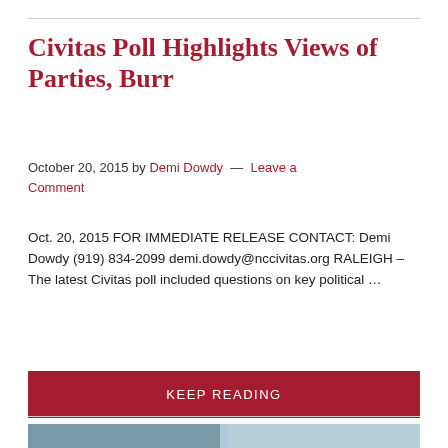Civitas Poll Highlights Views of Parties, Burr
October 20, 2015 by Demi Dowdy — Leave a Comment
Oct. 20, 2015 FOR IMMEDIATE RELEASE CONTACT: Demi Dowdy (919) 834-2099 demi.dowdy@nccivitas.org RALEIGH – The latest Civitas poll included questions on key political …
KEEP READING
[Figure (photo): Photo strip showing two images partially visible at bottom of page]